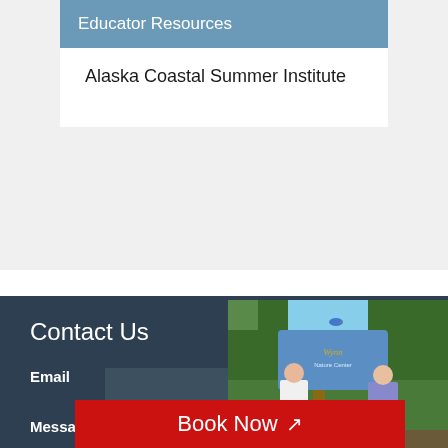Educator Resources
Alaska Coastal Summer Institute
Contact Us
Email
Message
[Figure (photo): Two women standing in front of a wooden sign for a nature reserve, surrounded by green trees and vegetation]
Book Now ↗